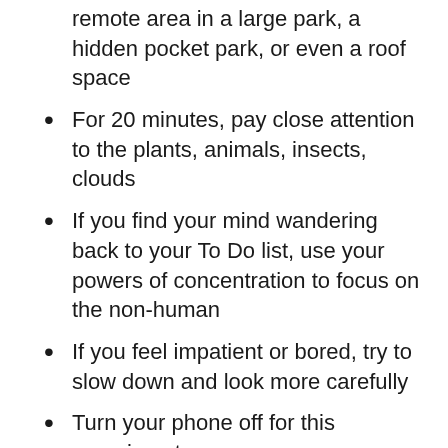remote area in a large park, a hidden pocket park, or even a roof space
For 20 minutes, pay close attention to the plants, animals, insects, clouds
If you find your mind wandering back to your To Do list, use your powers of concentration to focus on the non-human
If you feel impatient or bored, try to slow down and look more carefully
Turn your phone off for this experiment
How do you feel after this nature break? Do you feel calmer or more focused? Do you feel differently? Let me know how it